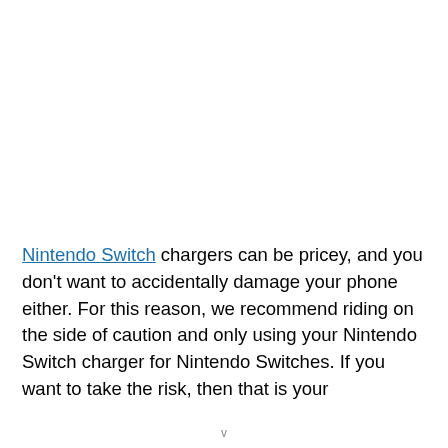Nintendo Switch chargers can be pricey, and you don't want to accidentally damage your phone either. For this reason, we recommend riding on the side of caution and only using your Nintendo Switch charger for Nintendo Switches. If you want to take the risk, then that is your
v